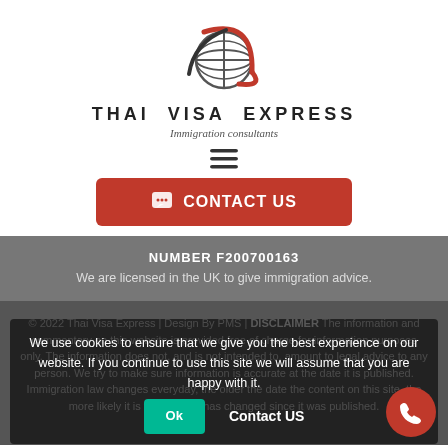[Figure (logo): Thai Visa Express globe logo with red swoosh]
THAI VISA EXPRESS
Immigration consultants
[Figure (other): Hamburger menu icon (three horizontal lines)]
CONTACT US
NUMBER F200700163
We are licensed in the UK to give immigration advice.
© 2022 Thai Visa Express | Design By PMS | DISCLAIMER The information and commentary on this website is provided free of charge for information purposes only. The information does not, and is not intended to, amount to legal advice to any person. We try to make sure information is accurate at the date it is published. Immigration law changes everyday, the older the date the content on this site, the more likely it is that the law has changed since it was published.
We use cookies to ensure that we give you the best experience on our website. If you continue to use this site we will assume that you are happy with it.
Ok
Contact US